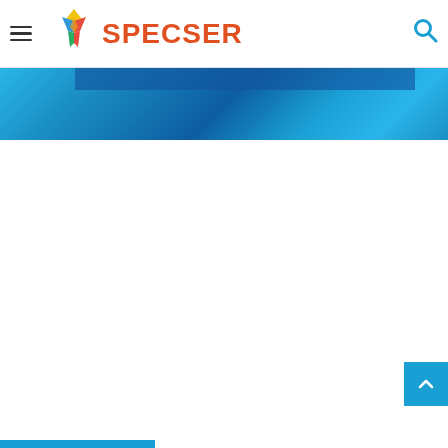SPECSER - navigation header with hamburger menu and search icon
[Figure (screenshot): Blue gradient banner strip below the header navigation]
[Figure (screenshot): Scroll-to-top button, light blue square with upward chevron, positioned at bottom right]
[Figure (screenshot): Thin blue strip at bottom left of page]